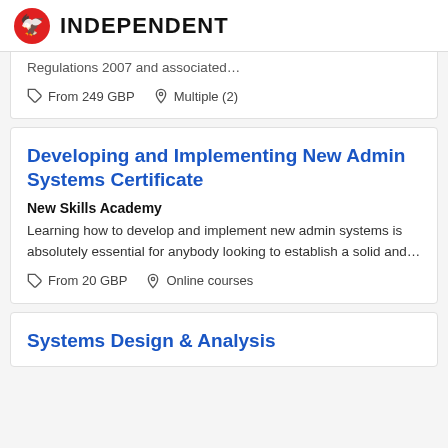INDEPENDENT
Regulations 2007 and associated…
From 249 GBP   Multiple (2)
Developing and Implementing New Admin Systems Certificate
New Skills Academy
Learning how to develop and implement new admin systems is absolutely essential for anybody looking to establish a solid and…
From 20 GBP   Online courses
Systems Design & Analysis